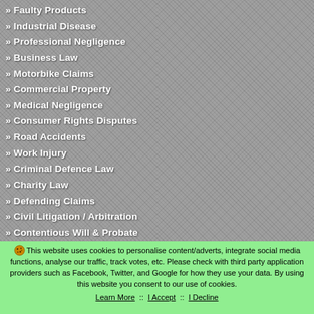» Faulty Products
» Industrial Disease
» Professional Negligence
» Business Law
» Motorbike Claims
» Commercial Property
» Medical Negligence
» Consumer Rights Disputes
» Road Accidents
» Work Injury
» Criminal Defence Law
» Charity Law
» Defending Claims
» Civil Litigation / Arbitration
» Contentious Will & Probate
This website uses cookies to personalise content/adverts, integrate social media functions, analyse our traffic, track votes, etc. Please check with third party application providers such as Facebook, Twitter, and Google for how they use your data. By using this website you consent to our use of cookies. Learn More :: I Accept :: I Decline